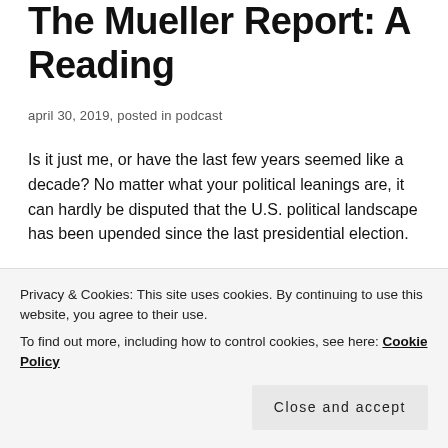The Mueller Report: A Reading
april 30, 2019, posted in podcast
Is it just me, or have the last few years seemed like a decade? No matter what your political leanings are, it can hardly be disputed that the U.S. political landscape has been upended since the last presidential election.
Whether or not you voted for our current president, his . . . unconventional presidency has left every last one of us speechless at times. Each news cycle is barely able
Privacy & Cookies: This site uses cookies. By continuing to use this website, you agree to their use.
To find out more, including how to control cookies, see here: Cookie Policy
2016 presidential election and subsequently into